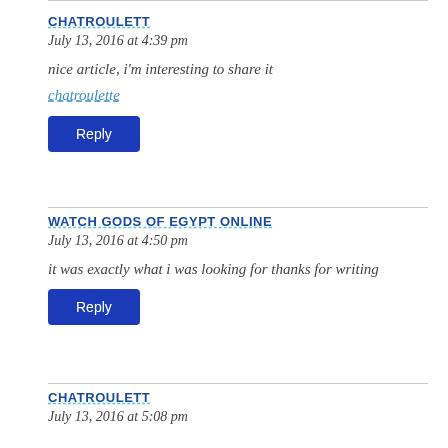CHATROULETT
July 13, 2016 at 4:39 pm
nice article, i'm interesting to share it
chatroulette
Reply
WATCH GODS OF EGYPT ONLINE
July 13, 2016 at 4:50 pm
it was exactly what i was looking for thanks for writing
Reply
CHATROULETT
July 13, 2016 at 5:08 pm